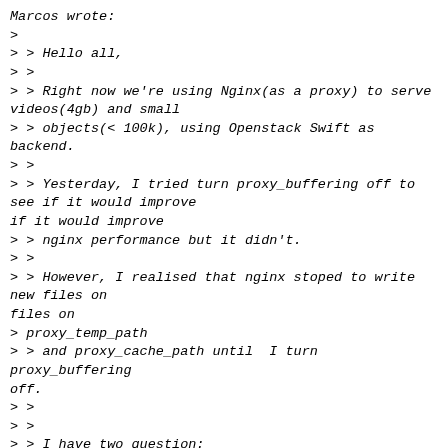Marcos wrote:
>
> > Hello all,
> >
> > Right now we're using Nginx(as a proxy) to serve videos(4gb) and small
> > objects(< 100k), using Openstack Swift as backend.
> >
> > Yesterday, I tried turn proxy_buffering off to see if it would improve
> > nginx performance but it didn't.
> >
> > However, I realised that nginx stoped to write new files on
> proxy_temp_path
> > and proxy_cache_path until  I turn proxy_buffering off.
> >
> >
> > I have two question:
> >
> > 1) Is that a expected behaviour? If I turn proxy_buffering off, nginx
> will
> > disable cache and temp files?
>
> Yes.
>
> > 2) If  proxy_buffering is on,  shouldn't nginx recieve the entire
> ...